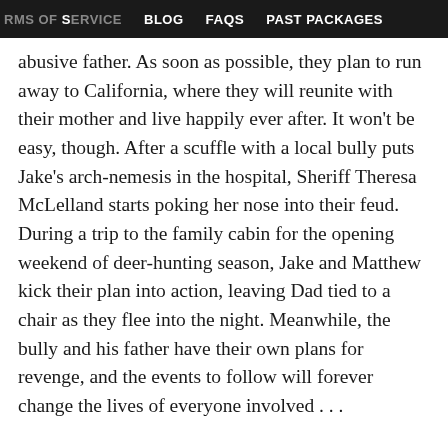RMS OF SERVICE   BLOG   FAQs   PAST PACKAGES
abusive father. As soon as possible, they plan to run away to California, where they will reunite with their mother and live happily ever after. It won't be easy, though. After a scuffle with a local bully puts Jake's arch-nemesis in the hospital, Sheriff Theresa McLelland starts poking her nose into their feud. During a trip to the family cabin for the opening weekend of deer-hunting season, Jake and Matthew kick their plan into action, leaving Dad tied to a chair as they flee into the night. Meanwhile, the bully and his father have their own plans for revenge, and the events to follow will forever change the lives of everyone involved . . .
To be honest, I don't know why I chose to read this book. I don't typically read novellas, not that I don't like